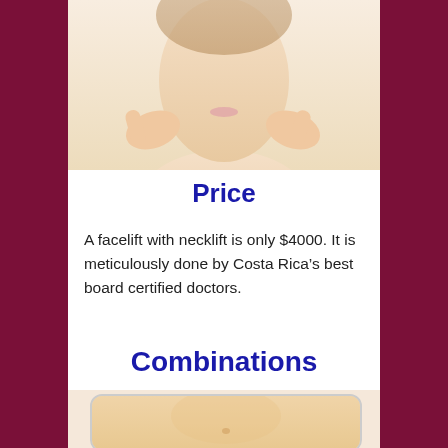[Figure (photo): Woman touching her chin/face with both hands, skin tone background, top portion visible]
Price
A facelift with necklift is only $4000. It is meticulously done by Costa Rica's best board certified doctors.
Combinations
[Figure (photo): Woman's torso/abdomen area, shown from below chest to upper hips, inside a rounded rectangle frame]